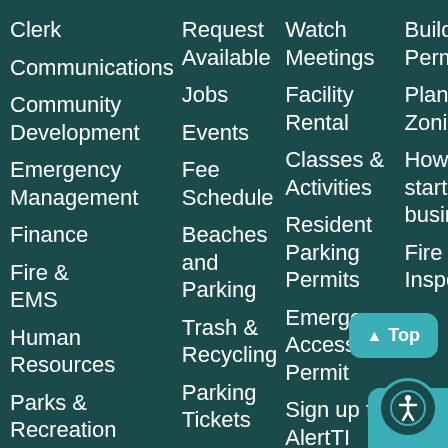Clerk
Communications
Community Development
Emergency Management
Finance
Fire & EMS
Human Resources
Parks & Recreation
Parking
Police
Public
Request Available
Jobs
Events
Fee Schedule
Beaches and Parking
Trash & Recycling
Parking Tickets
Media Requests
Report
Watch Meetings
Facility Rental
Classes & Activities
Resident Parking Permits
Emergency Access Permit
Sign up for AlertTI
Request Fire
Building Permits
Planning & Zoning
How do I start a business?
Fire Inspections